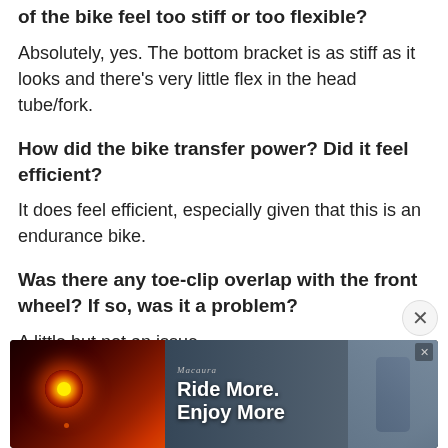of the bike feel too stiff or too flexible?
Absolutely, yes. The bottom bracket is as stiff as it looks and there's very little flex in the head tube/fork.
How did the bike transfer power? Did it feel efficient?
It does feel efficient, especially given that this is an endurance bike.
Was there any toe-clip overlap with the front wheel? If so, was it a problem?
A little but not an issue.
How would you describe the steering? Was it live, neutral, or stable? Did it feel nimble and responsive, but
[Figure (other): Advertisement banner: Ride More. Enjoy More — with bicycle light and device imagery. Overlay with close button.]